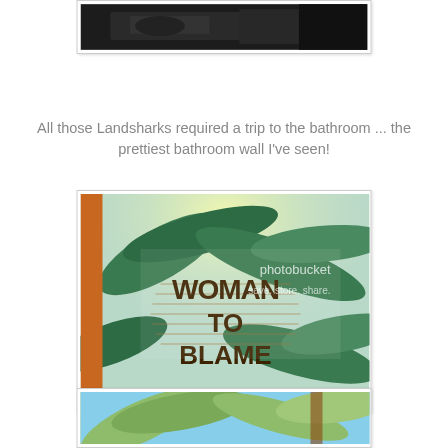[Figure (photo): Dark indoor photo, partial view, top of page cropped]
All those Landsharks required a trip to the bathroom ... the prettiest bathroom wall I've seen!
[Figure (photo): Tropical scene with a round wooden sign reading 'WOMAN TO BLAME' with a Photobucket watermark overlay, palm trees in background]
[Figure (photo): Tropical palm trees against blue sky, partially visible at bottom of page]